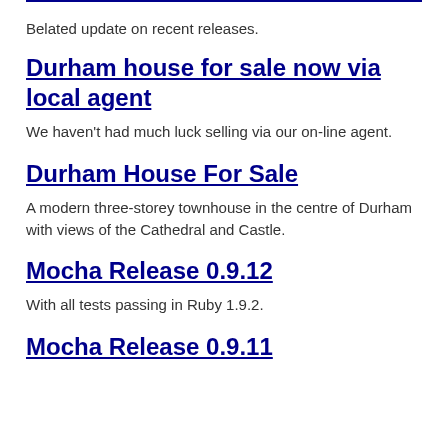Belated update on recent releases.
Durham house for sale now via local agent
We haven't had much luck selling via our on-line agent.
Durham House For Sale
A modern three-storey townhouse in the centre of Durham with views of the Cathedral and Castle.
Mocha Release 0.9.12
With all tests passing in Ruby 1.9.2.
Mocha Release 0.9.11